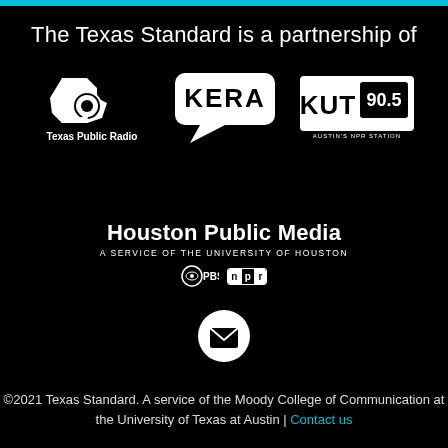The Texas Standard is a partnership of
[Figure (logo): Texas Public Radio logo — Texas state shape with speech bubble, text 'Texas Public Radio']
[Figure (logo): KERA logo — speech bubble shape with 'KERA' text]
[Figure (logo): KUT 90.5 Austin's NPR Station logo]
[Figure (logo): Houston Public Media — A service of the University of Houston, with PBS and NPR logos]
[Figure (illustration): Email envelope icon in white circle]
©2021 Texas Standard. A service of the Moody College of Communication at the University of Texas at Austin | Contact us